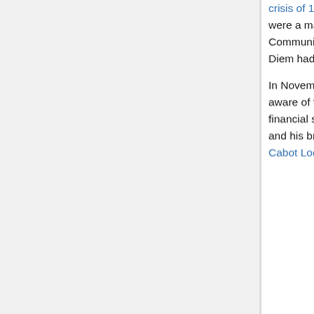crisis of 1963, which also involved other Vietnamese sects, such as the Cao Dai and Hoa Hao, were a major disruption by June. These protests were seen by the U.S. as strengthening the Communist insurgency, and, after rejecting earlier initiatives for a military coup, agreed that Diem had to go.
In November 1963, Diem was overthrown and killed in a military coup. The United States was aware of the coup preparations and, through CIA officer Lucien Conein, had given limited financial support to the generals involved. There is no evidence that the U.S. expected Diem, and his brother and closest political adviser, Ngo Dinh Nhu to be killed; U.S. Ambassador Henry Cabot Lodge Jr. had offered him physical protection.